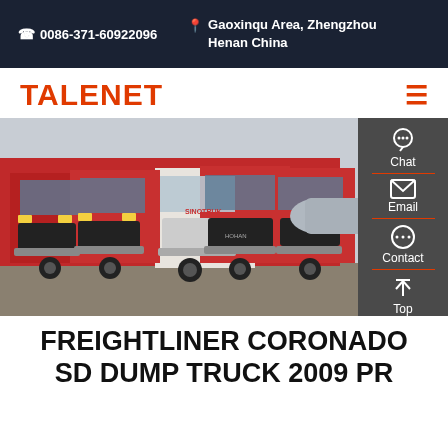0086-371-60922096 | Gaoxinqu Area, Zhengzhou Henan China
TALENET
[Figure (photo): Row of red and white heavy duty trucks (Freightliner/Chinese brand) parked in a lot, front view, with a sidebar showing Chat, Email, Contact, and Top navigation icons on a dark gray background.]
FREIGHTLINER CORONADO SD DUMP TRUCK 2009 PR